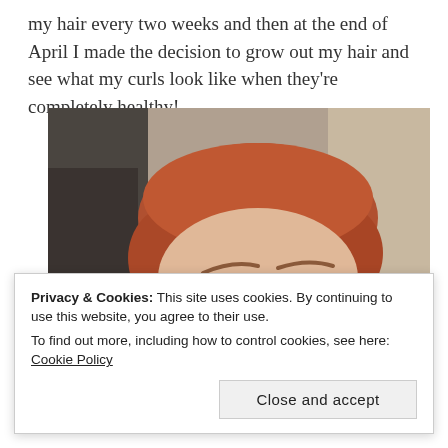my hair every two weeks and then at the end of April I made the decision to grow out my hair and see what my curls look like when they're completely healthy!
[Figure (photo): Close-up selfie of a young woman with short auburn/red hair, blue eyes, freckles, and a silver hoop earring. She is looking slightly to the side with a subtle expression. Background shows an indoor room.]
Privacy & Cookies: This site uses cookies. By continuing to use this website, you agree to their use.
To find out more, including how to control cookies, see here: Cookie Policy
Close and accept